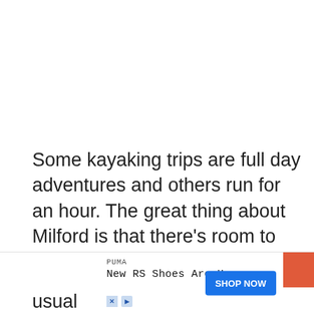Some kayaking trips are full day adventures and others run for an hour. The great thing about Milford is that there's room to personalize your own trip.
The most common way to travel to Milford Sound is from Queenstown via a scenic coach tour and cruis[e...] usual[ly...]